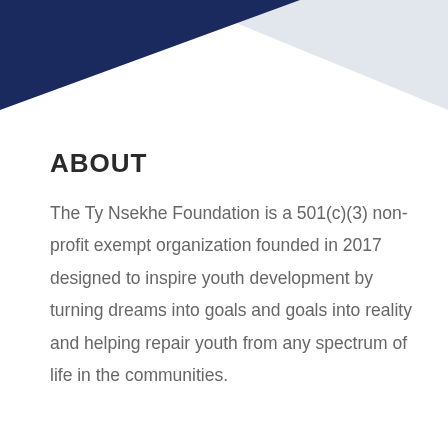[Figure (illustration): Decorative header graphic with dark navy blue triangular shape in upper left and light grey triangular shape in upper right, overlapping on white background.]
ABOUT
The Ty Nsekhe Foundation is a 501(c)(3) non-profit exempt organization founded in 2017 designed to inspire youth development by turning dreams into goals and goals into reality and helping repair youth from any spectrum of life in the communities.